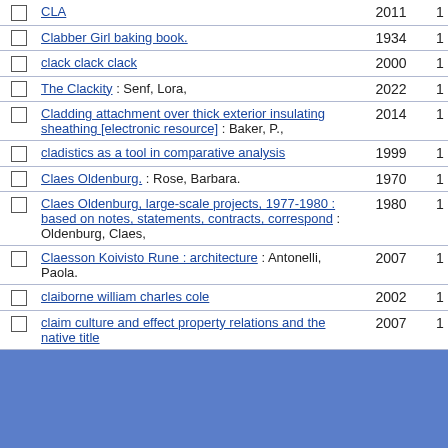|  | Title | Year | Count |
| --- | --- | --- | --- |
| ☐ | CLA | 2011 | 1 |
| ☐ | Clabber Girl baking book. | 1934 | 1 |
| ☐ | clack clack clack | 2000 | 1 |
| ☐ | The Clackity : Senf, Lora, | 2022 | 1 |
| ☐ | Cladding attachment over thick exterior insulating sheathing [electronic resource] : Baker, P., | 2014 | 1 |
| ☐ | cladistics as a tool in comparative analysis | 1999 | 1 |
| ☐ | Claes Oldenburg. : Rose, Barbara. | 1970 | 1 |
| ☐ | Claes Oldenburg, large-scale projects, 1977-1980 : based on notes, statements, contracts, correspond : Oldenburg, Claes, | 1980 | 1 |
| ☐ | Claesson Koivisto Rune : architecture : Antonelli, Paola. | 2007 | 1 |
| ☐ | claiborne william charles cole | 2002 | 1 |
| ☐ | claim culture and effect property relations and the native title | 2007 | 1 |